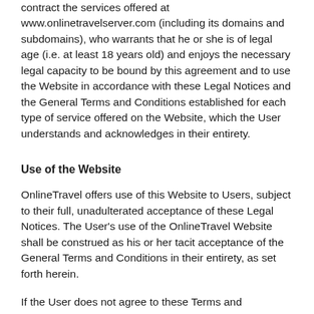contract the services offered at www.onlinetravelserver.com (including its domains and subdomains), who warrants that he or she is of legal age (i.e. at least 18 years old) and enjoys the necessary legal capacity to be bound by this agreement and to use the Website in accordance with these Legal Notices and the General Terms and Conditions established for each type of service offered on the Website, which the User understands and acknowledges in their entirety.
Use of the Website
OnlineTravel offers use of this Website to Users, subject to their full, unadulterated acceptance of these Legal Notices. The User's use of the OnlineTravel Website shall be construed as his or her tacit acceptance of the General Terms and Conditions in their entirety, as set forth herein.
If the User does not agree to these Terms and Conditions, he or she shall forfeit the right to use the OnlineTravel Websites.
OnlineTravel, as the legal owner of this Website, offers various